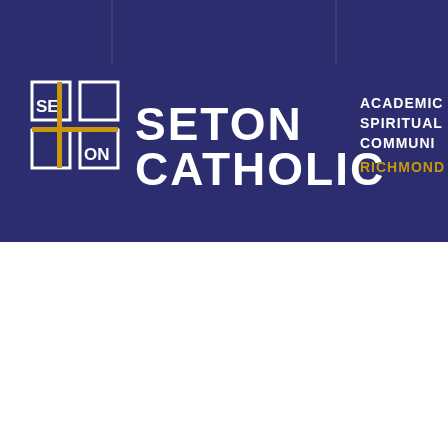[Figure (logo): Seton Catholic school logo on dark navy background. Left side: geometric SE/ON cross-style icon in white squares with a gold cross through the center. Center: large white bold text 'SETON CATHOLIC'. Right side: white text 'ACADEMIC / SPIRITUAL / COMMUNI...' with gold text 'RICHMOND' below. Decorative thin vertical lines drop from top of banner.]